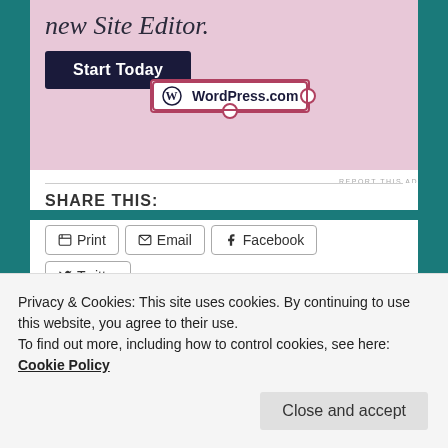[Figure (screenshot): WordPress.com advertisement with pink background showing 'new Site Editor.' text, a 'Start Today' button, and a WordPress.com logo badge with selection handles]
REPORT THIS AD
SHARE THIS:
Print  Email  Facebook  Twitter  Pinterest  Tumblr
Like
Privacy & Cookies: This site uses cookies. By continuing to use this website, you agree to their use.
To find out more, including how to control cookies, see here: Cookie Policy
Close and accept